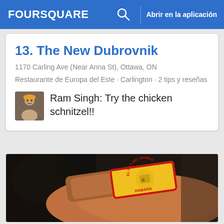FOURSQUARE   🔍   Abrir en la aplicación
13. The New Dubrovnik
1170 Carling Ave (Near Anna St), Ottawa, ON
Restaurante de Europa del Este · Carlington · 2 tips y reseñas
Ram Singh: Try the chicken schnitzel!!
[Figure (photo): Close-up photo of a hand holding a Cuban cigar with El Rey Del Mundo Habana band/label visible]